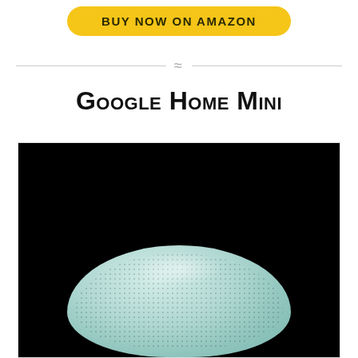BUY NOW ON AMAZON
[Figure (illustration): Decorative wave/squiggle divider line between sections]
Google Home Mini
[Figure (photo): Google Home Mini smart speaker in light aqua/mint color with fabric mesh texture, photographed on black background, puck-shaped form factor]